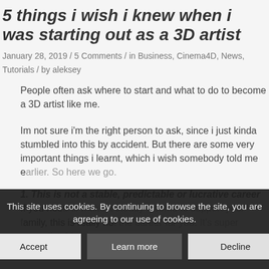5 things i wish i knew when i was starting out as a 3D artist
January 28, 2019 / 5 Comments / in Business, Cinema4D, News, Tutorials / by aleksey
People often ask where to start and what to do to become a 3D artist like me.
Im not sure i'm the right person to ask, since i just kinda stumbled into this by accident. But there are some very important things i learnt, which i wish somebody told me earlier. So here we go.
1. This is not a stable, predictable or lucrative career If you need to make a steady income to support your family, this is really not the career for you. It's super unpredictable,
This site uses cookies. By continuing to browse the site, you are agreeing to our use of cookies.